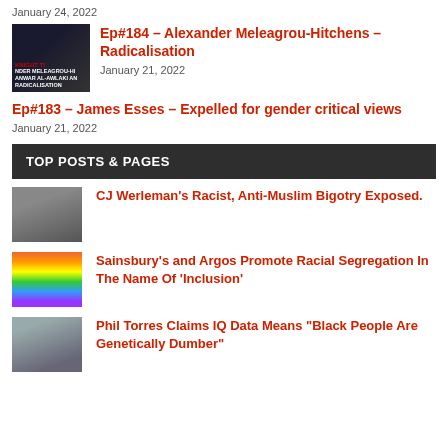January 24, 2022
[Figure (photo): Thumbnail for podcast episode 184 showing two people]
Ep#184 – Alexander Meleagrou-Hitchens – Radicalisation
January 21, 2022
Ep#183 – James Esses – Expelled for gender critical views
January 21, 2022
TOP POSTS & PAGES
[Figure (photo): Thumbnail of person for CJ Werleman post]
CJ Werleman's Racist, Anti-Muslim Bigotry Exposed.
[Figure (photo): Thumbnail showing rainbow/gradient image for Sainsbury's post]
Sainsbury's and Argos Promote Racial Segregation In The Name Of 'Inclusion'
[Figure (photo): Thumbnail of person for Phil Torres post]
Phil Torres Claims IQ Data Means "Black People Are Genetically Dumber"